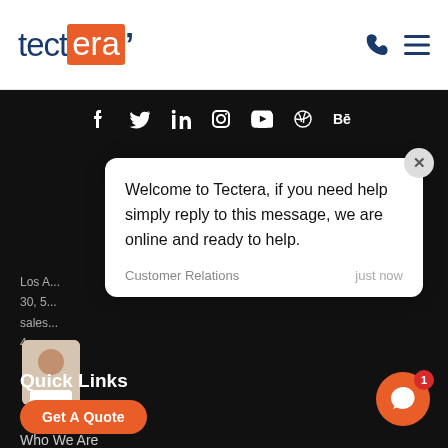[Figure (logo): Tectera company logo with orange highlight on 'era' and blue text]
[Figure (illustration): Phone and hamburger menu icon in blue for navigation]
[Figure (infographic): Social media icons row: Facebook, Twitter, LinkedIn, Instagram, YouTube, Dribbble, Behance on dark background]
[Figure (screenshot): Chat popup overlay: Welcome to Tectera message with Customer Relations agent, just now timestamp]
Los A...
30, 5...
sales...
4
[Figure (photo): Avatar photo of a woman in white top]
Quick Links
[Figure (illustration): Get A Quote orange button]
Who We Are
[Figure (illustration): Orange chat bubble button with red badge showing '1']